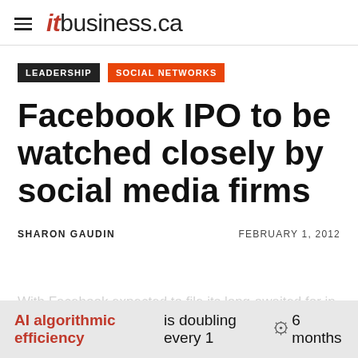itbusiness.ca
LEADERSHIP   SOCIAL NETWORKS
Facebook IPO to be watched closely by social media firms
SHARON GAUDIN   FEBRUARY 1, 2012
With Facebook expected to file its long-awaited for in
AI algorithmic efficiency is doubling every 16 months